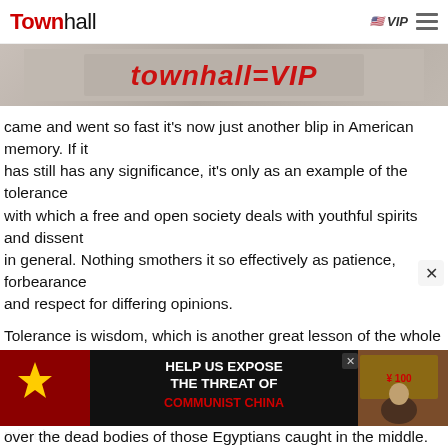Townhall | VIP
[Figure (screenshot): Townhall VIP banner image with red text on textured background]
came and went so fast it's now just another blip in American memory. If it has still has any significance, it's only as an example of the tolerance with which a free and open society deals with youthful spirits and dissent in general. Nothing smothers it so effectively as patience, forbearance and respect for differing opinions.
Tolerance is wisdom, which is another great lesson of the whole American experience and continuing experiment.
For an example of what happens when the ruling authorities misrule
[Figure (infographic): Advertisement: HELP US EXPOSE THE THREAT OF COMMUNIST CHINA with Chinese flag imagery and photo of Chinese official]
over the dead bodies of those Egyptians caught in the middle.